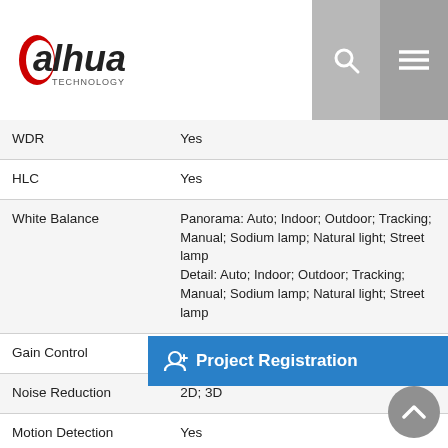Dahua Technology
| Feature | Value |
| --- | --- |
| WDR | Yes |
| HLC | Yes |
| White Balance | Panorama: Auto; Indoor; Outdoor; Tracking; Manual; Sodium lamp; Natural light; Street lamp
Detail: Auto; Indoor; Outdoor; Tracking; Manual; Sodium lamp; Natural light; Street lamp |
| Gain Control | Auto; Manual |
| Noise Reduction | 2D; 3D |
| Motion Detection | Yes |
| Region of Interest (RoI) | Yes |
| Image Stabilization | Electronic (EIS) |
| Defog | Electronic |
| Digital Zoom | 16× |
| Flip | 0°; 180° |
| Privacy Masking | Up to 24 areas, and up to 8 areas in the |